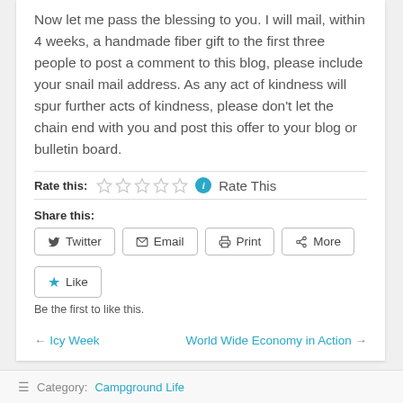Now let me pass the blessing to you. I will mail, within 4 weeks, a handmade fiber gift to the first three people to post a comment to this blog, please include your snail mail address. As any act of kindness will spur further acts of kindness, please don't let the chain end with you and post this offer to your blog or bulletin board.
Rate this:  Rate This
Share this:
Twitter  Email  Print  More
Like
Be the first to like this.
← Icy Week    World Wide Economy in Action →
Category: Campground Life